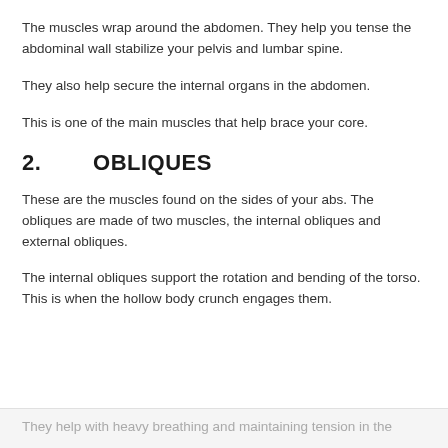The muscles wrap around the abdomen. They help you tense the abdominal wall stabilize your pelvis and lumbar spine.
They also help secure the internal organs in the abdomen.
This is one of the main muscles that help brace your core.
2.      OBLIQUES
These are the muscles found on the sides of your abs. The obliques are made of two muscles, the internal obliques and external obliques.
The internal obliques support the rotation and bending of the torso. This is when the hollow body crunch engages them.
They help with heavy breathing and maintaining tension in the